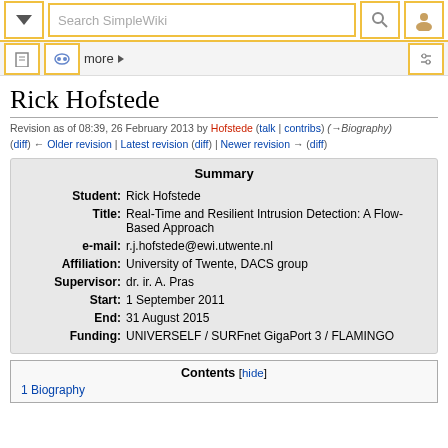Search SimpleWiki
Rick Hofstede
Revision as of 08:39, 26 February 2013 by Hofstede (talk | contribs) (→Biography)
(diff) ← Older revision | Latest revision (diff) | Newer revision → (diff)
| Field | Value |
| --- | --- |
| Student: | Rick Hofstede |
| Title: | Real-Time and Resilient Intrusion Detection: A Flow-Based Approach |
| e-mail: | r.j.hofstede@ewi.utwente.nl |
| Affiliation: | University of Twente, DACS group |
| Supervisor: | dr. ir. A. Pras |
| Start: | 1 September 2011 |
| End: | 31 August 2015 |
| Funding: | UNIVERSELF / SURFnet GigaPort 3 / FLAMINGO |
Contents [hide]
1 Biography